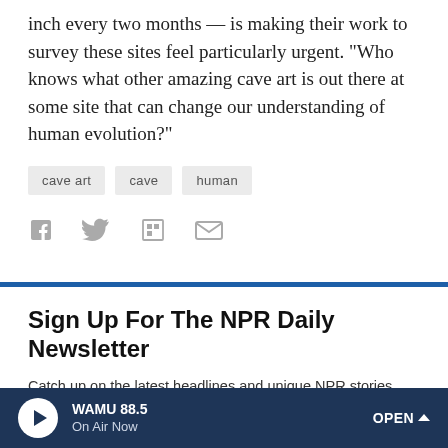inch every two months — is making their work to survey these sites feel particularly urgent. "Who knows what other amazing cave art is out there at some site that can change our understanding of human evolution?"
cave art
cave
human
[Figure (other): Social share icons: Facebook, Twitter, Flipboard, Email]
Sign Up For The NPR Daily Newsletter
Catch up on the latest headlines and unique NPR stories, sent every weekday.
WAMU 88.5 On Air Now OPEN